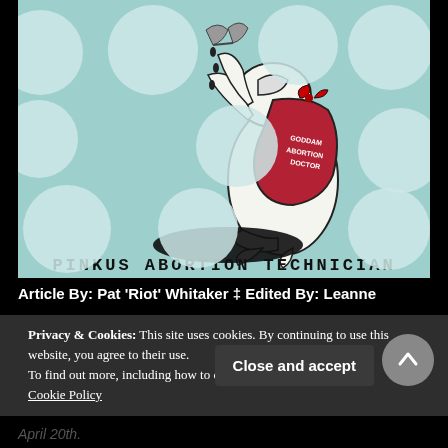[Figure (illustration): Illustration/album cover for 'Pinkus Abortion Technician' showing a cartoon creature on a teal polka-dot background holding a red bag, with drips falling onto a dark puddle below. Text at bottom reads 'PINKUS ABORTION TECHNICIAN'.]
Article By: Pat 'Riot' Whitaker ‡ Edited By: Leanne
Privacy & Cookies: This site uses cookies. By continuing to use this website, you agree to their use.
To find out more, including how to control cookies, see here:
Cookie Policy
Close and accept
April 20th.